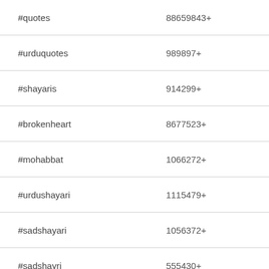| Hashtag | Count |
| --- | --- |
| #quotes | 88659843+ |
| #urduquotes | 989897+ |
| #shayaris | 914299+ |
| #brokenheart | 8677523+ |
| #mohabbat | 1066272+ |
| #urdushayari | 1115479+ |
| #sadshayari | 1056372+ |
| #sadshayri | 555430+ |
| #loveshayari | 775847+ |
| #urdupoetry | 2726270+ |